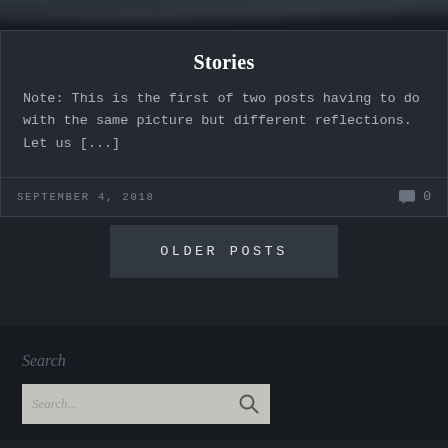[Figure (photo): Dark background image at top of page, possibly showing trees or foliage against a dark sky]
Stories
Note: This is the first of two posts having to do with the same picture but different reflections. Let us [...]
SEPTEMBER 4, 2018
0
OLDER POSTS
Search
Search...